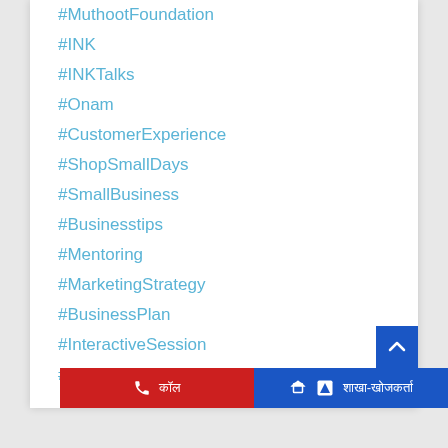#MuthootFoundation
#INK
#INKTalks
#Onam
#CustomerExperience
#ShopSmallDays
#SmallBusiness
#Businesstips
#Mentoring
#MarketingStrategy
#BusinessPlan
#InteractiveSession
#ExpertAdvise
कॉल   शाखा-खोजकर्ता